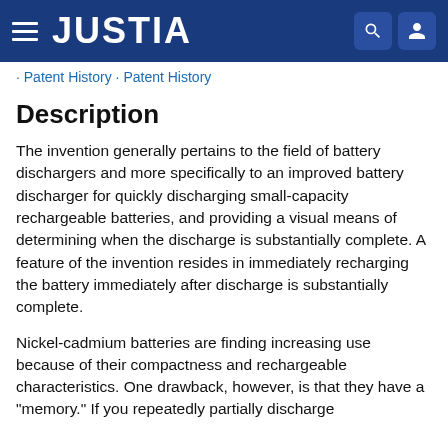JUSTIA
· Patent History · Patent History
Description
The invention generally pertains to the field of battery dischargers and more specifically to an improved battery discharger for quickly discharging small-capacity rechargeable batteries, and providing a visual means of determining when the discharge is substantially complete. A feature of the invention resides in immediately recharging the battery immediately after discharge is substantially complete.
Nickel-cadmium batteries are finding increasing use because of their compactness and rechargeable characteristics. One drawback, however, is that they have a "memory." If you repeatedly partially discharge